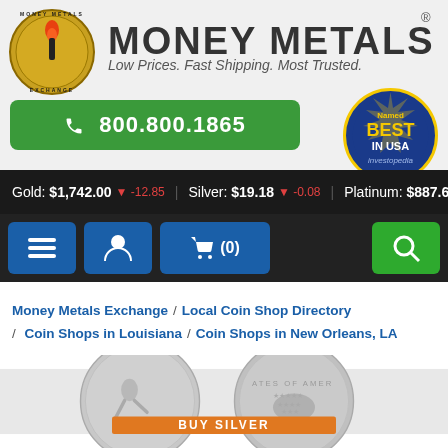[Figure (logo): Money Metals Exchange logo with torch coin and tagline: Low Prices. Fast Shipping. Most Trusted.]
[Figure (other): Phone button: 800.800.1865]
[Figure (other): Named Best in USA Investopedia badge]
Gold: $1,742.00 -12.85   Silver: $19.18 -0.08   Platinum: $887.65
[Figure (other): Navigation bar with hamburger menu, account icon, cart (0), and search button]
Money Metals Exchange / Local Coin Shop Directory / Coin Shops in Louisiana / Coin Shops in New Orleans, LA
[Figure (photo): Two silver American Eagle coins with BUY SILVER orange banner overlay]